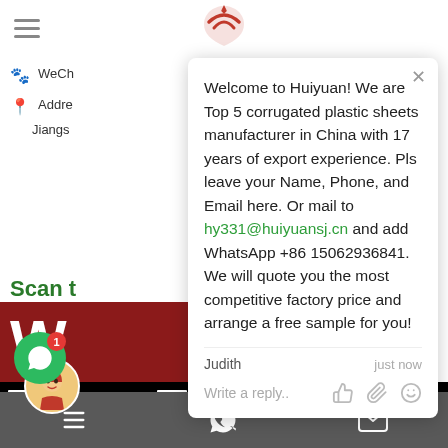[Figure (screenshot): Website header with hamburger menu icon on left and partial red logo at top center]
WeCh
Addre
Jiangs
Scan t
[Figure (screenshot): Dark red banner with large white W letter]
[Figure (other): Chat message overlay from Judith: Welcome to Huiyuan! We are Top 5 corrugated plastic sheets manufacturer in China with 17 years of export experience. Pls leave your Name, Phone, and Email here. Or mail to hy331@huiyuansj.cn and add WhatsApp +86 15062936841. We will quote you the most competitive factory price and arrange a free sample for you!]
Judith
just now
Write a reply..
[Figure (other): QR code images at bottom of page]
[Figure (screenshot): Bottom toolbar with dark gray background showing document, WhatsApp, and email icons]